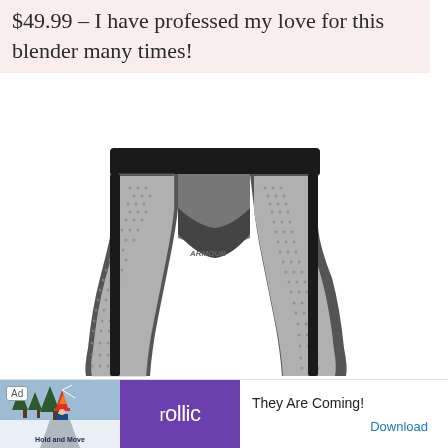$49.99 – I have professed my love for this blender many times!
[Figure (photo): Product photo of patterned athletic leggings/tights with black waistband and black side panels, featuring a gray and white geometric pattern]
[Figure (screenshot): Advertisement banner for 'rollic' game app with text 'They Are Coming!' and a Download link, showing a winter landscape game scene]